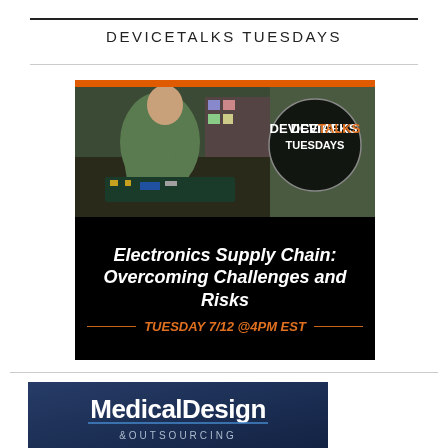DEVICETALKS TUESDAYS
[Figure (photo): DeviceTalks Tuesdays event banner. Black background with photo of a technician working on electronics. Orange top bar. Circle logo with 'DEVICETALKS TUESDAYS'. White bold italic text: 'Electronics Supply Chain: Overcoming Challenges and Risks'. Orange text: 'TUESDAY 7/12 @4PM EST'.]
[Figure (logo): Medical Design & Outsourcing logo on dark blue background. Bold white text 'MedicalDesign' with '&OUTSOURCING' in smaller text below.]